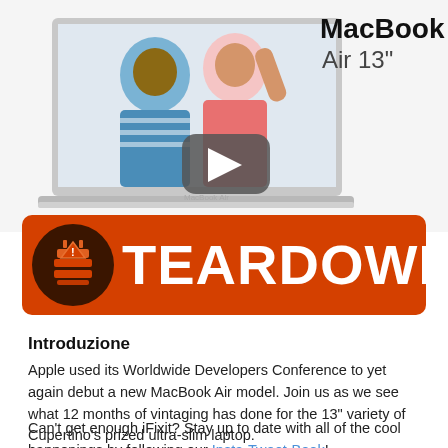[Figure (screenshot): MacBook Air 13 inch product image with people in background and a YouTube play button overlay, text reads MacBook Air 13 inches]
[Figure (logo): iFixit Teardown banner with orange background, dark brown circle with teardown tool icon, white text TEARDOWN]
Introduzione
Apple used its Worldwide Developers Conference to yet again debut a new MacBook Air model. Join us as we see what 12 months of vintaging has done for the 13" variety of Cupertino's prized ultra-slim laptop.
Can't get enough iFixit? Stay up to date with all of the cool happenings by following our Insta-Tweet-Book!